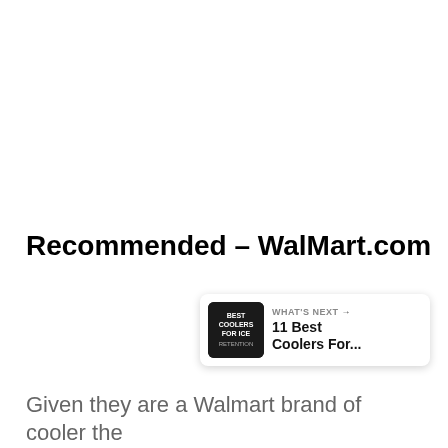Recommended – WalMart.com
[Figure (logo): Walmart logo with blue text 'Walmart' and yellow spark/asterisk symbol, with UI overlay buttons (heart and share) and a 'What's Next' card showing '11 Best Coolers For...']
Given they are a Walmart brand of cooler the